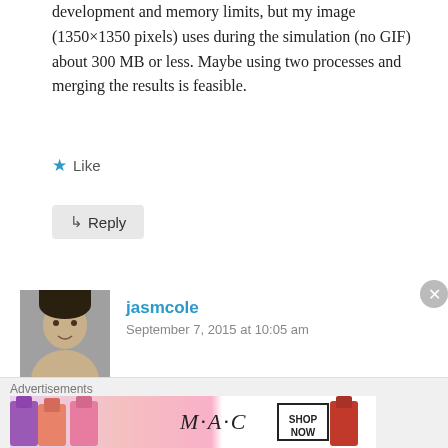development and memory limits, but my image (1350×1350 pixels) uses during the simulation (no GIF) about 300 MB or less. Maybe using two processes and merging the results is feasible.
★ Like
↳ Reply
jasmcole
September 7, 2015 at 10:05 am
Hi, thanks for purchasing the app!
[Figure (photo): Avatar photo of commenter jasmcole]
Advertisements